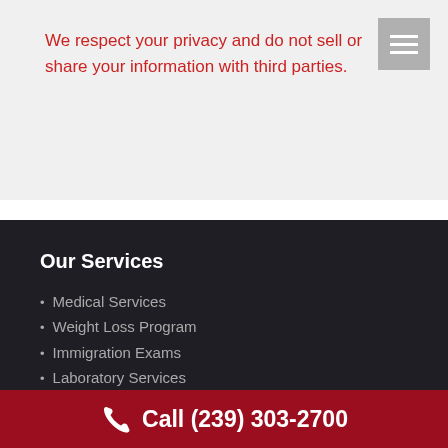We respect your privacy and do not sell or share your information with third parties.
Our Services
Medical Services
Weight Loss Program
Immigration Exams
Laboratory Services
General Medicine
Call (239) 303-2700